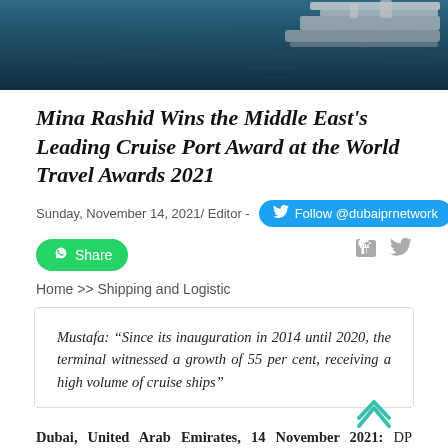[Figure (photo): Aerial view of a cruise ship on dark blue water, partially visible at the top of the page]
Mina Rashid Wins the Middle East's Leading Cruise Port Award at the World Travel Awards 2021
Sunday, November 14, 2021/ Editor -
Follow @dubaiprnetwork
Share
Home >> Shipping and Logistic
Mustafa: “Since its inauguration in 2014 until 2020, the terminal witnessed a growth of 55 per cent, receiving a high volume of cruise ships”
Dubai, United Arab Emirates, 14 November 2021: DP World’s Mina Rashid won the award for the Middle East’s